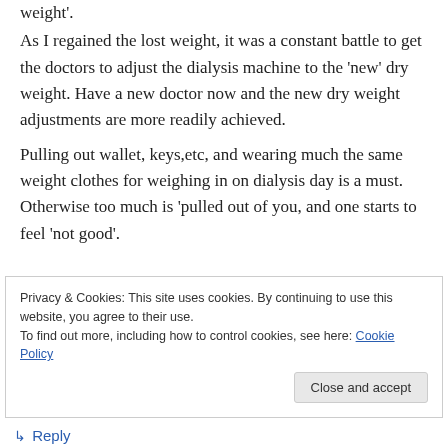weight'.
As I regained the lost weight, it was a constant battle to get the doctors to adjust the dialysis machine to the 'new' dry weight. Have a new doctor now and the new dry weight adjustments are more readily achieved.
Pulling out wallet, keys,etc, and wearing much the same weight clothes for weighing in on dialysis day is a must. Otherwise too much is 'pulled out of you, and one starts to feel 'not good'.
Privacy & Cookies: This site uses cookies. By continuing to use this website, you agree to their use.
To find out more, including how to control cookies, see here: Cookie Policy
Close and accept
↳ Reply